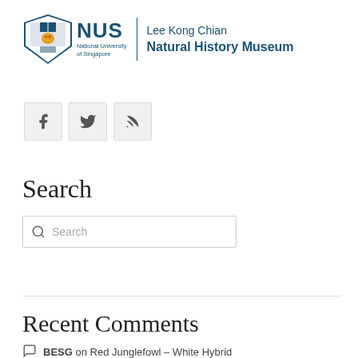[Figure (logo): NUS National University of Singapore - Lee Kong Chian Natural History Museum logo with shield emblem and text]
[Figure (infographic): Social media icons: Facebook, Twitter, RSS feed]
Search
[Figure (other): Search input box with magnifying glass icon and placeholder text 'Search']
Recent Comments
BESG on Red Junglefowl – White Hybrid